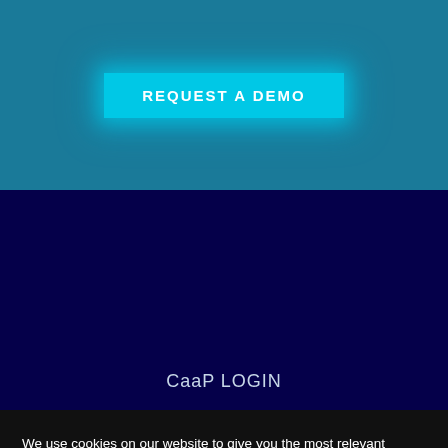[Figure (screenshot): Teal/blue banner background with a glowing cyan 'REQUEST A DEMO' button centered.]
REQUEST A DEMO
[Figure (screenshot): Dark navy blue section with 'CaaP LOGIN' text centered at the bottom.]
CaaP LOGIN
We use cookies on our website to give you the most relevant experience by remembering your preferences and repeat visits. By clicking "Accept", you consent to the use of ALL the cookies.
Cookie settings
ACCEPT